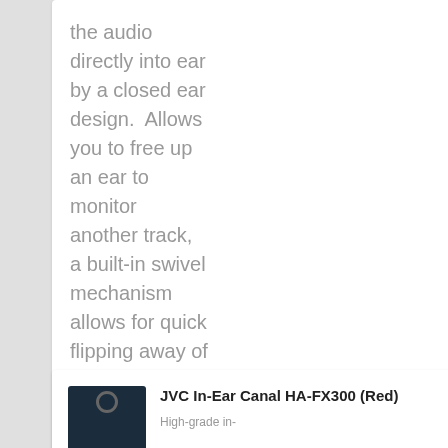the audio directly into ear by a closed ear design.  Allows you to free up an ear to monitor another track, a built-in swivel mechanism allows for quick flipping away of the ear piece. The driver units are 44 mm in diameter...
[Figure (photo): JVC In-Ear Canal HA-FX300 product box image, dark navy packaging with hanger tab]
JVC In-Ear Canal HA-FX300 (Red)
High-grade in-
£58.95
£39.30